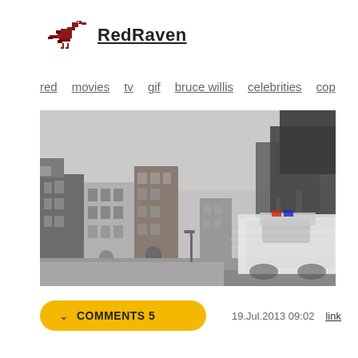RedRaven
red   movies   tv   gif   bruce willis   celebrities   cop
[Figure (photo): Black and white street scene photograph showing historic multi-story brick buildings on the left and a blurred police car speeding past on the right, with trees visible in the background. Watermark 'bommee|tumblr' in upper left corner.]
COMMENTS 5   19.Jul.2013 09:02   link